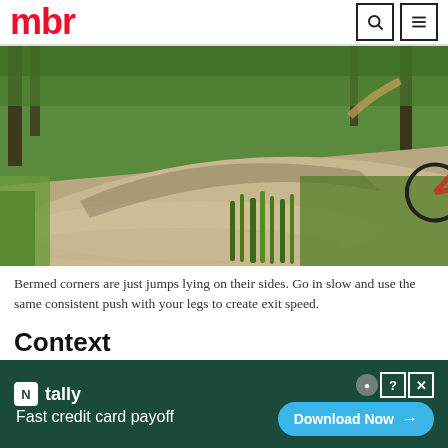mbr
[Figure (photo): Mountain biker rounding a bermed dirt corner on a trail through green forest. The trail curves with the berm, trees and grass visible around it, photographed from trail level.]
Bermed corners are just jumps lying on their sides. Go in slow and use the same consistent push with your legs to create exit speed.
Context
[Figure (screenshot): Tally app advertisement banner with green background. Shows Tally logo with tagline 'Fast credit card payoff' and a 'Download Now' button in blue. Has close (X) and help (?) icons.]